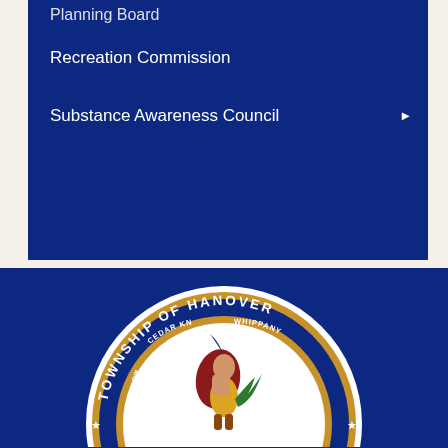Planning Board
Recreation Commission
Substance Awareness Council
[Figure (logo): Township of Hanover, New Jersey official seal. Features a Native American figure in the center holding a plant, surrounded by text 'TOWNSHIP OF HANOVER' at top, 'NEW JERSEY' at bottom, 'CEDAR KNOLLS', 'WHIPPANY', 'MALAPARDIS', 'MONROE' around the inner ring, 'WHIPPANONG' on a banner, and the date '1676'. Stars appear around the inner circle.]